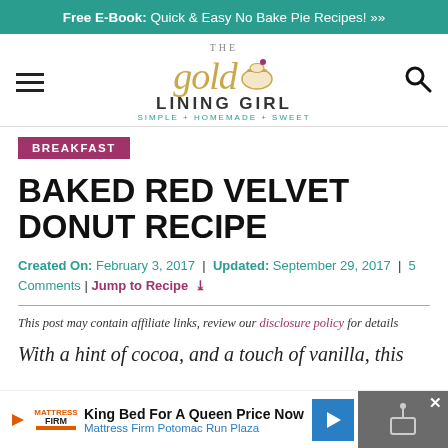Free E-Book: Quick & Easy No Bake Pie Recipes! »
[Figure (logo): The Gold Lining Girl logo with cupcake icon, tagline: SIMPLE + HOMEMADE + SWEET]
BREAKFAST
BAKED RED VELVET DONUT RECIPE
Created On: February 3, 2017 | Updated: September 29, 2017 | 5 Comments | Jump to Recipe
This post may contain affiliate links, review our disclosure policy for details
With a hint of cocoa, and a touch of vanilla, this
[Figure (screenshot): Mattress Firm advertisement: King Bed For A Queen Price Now, Mattress Firm Potomac Run Plaza]